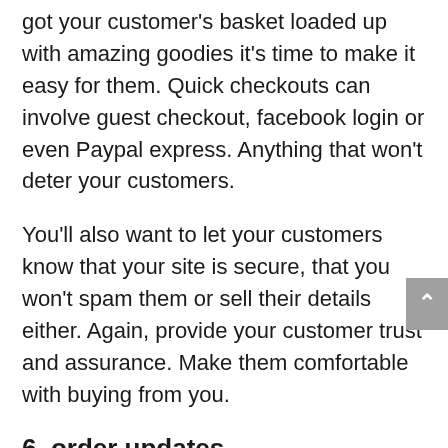got your customer's basket loaded up with amazing goodies it's time to make it easy for them. Quick checkouts can involve guest checkout, facebook login or even Paypal express. Anything that won't deter your customers.
You'll also want to let your customers know that your site is secure, that you won't spam them or sell their details either. Again, provide your customer trust and assurance. Make them comfortable with buying from you.
6. order updates
Woo Hoo! You've made the sale.